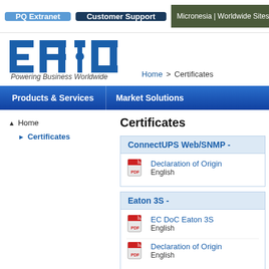PQ Extranet | Customer Support | Micronesia | Worldwide Sites | www.e
[Figure (logo): Eaton logo - blue E·A·T·O·N letters with dot, Powering Business Worldwide tagline]
Home > Certificates
Products & Services | Market Solutions
▲ Home
► Certificates
Certificates
ConnectUPS Web/SNMP -
Declaration of Origin
English
Eaton 3S -
EC DoC Eaton 3S
English
Declaration of Origin
English
Eaton 5115 -
Declaration of Origin
English